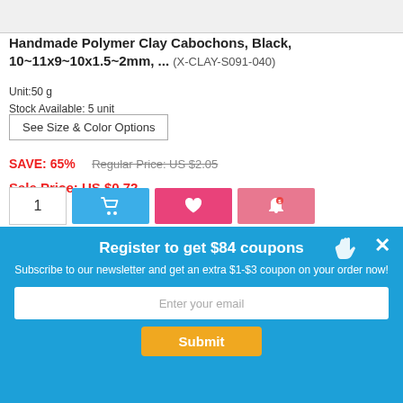[Figure (photo): Partial product image at top, cropped]
Handmade Polymer Clay Cabochons, Black, 10~11x9~10x1.5~2mm, ... (X-CLAY-S091-040)
Unit:50 g
Stock Available: 5 unit
See Size & Color Options
SAVE: 65%   Regular Price: US $2.05
Sale Price: US $0.72
[Figure (screenshot): Action buttons: quantity box with 1, blue cart button, pink heart/wishlist button, pink price alert button]
[Figure (screenshot): Tab bar with active red/pink tab, product image row with egg-shaped items]
Register to get $84 coupons
Subscribe to our newsletter and get an extra $1-$3 coupon on your order now!
Enter your email
Submit